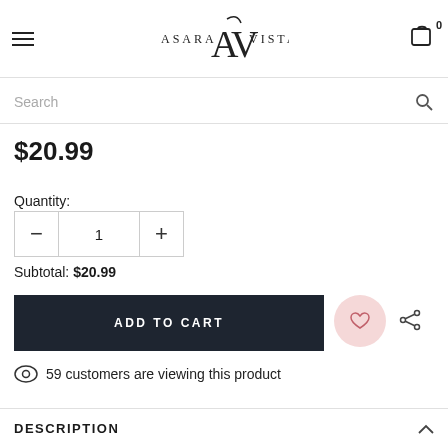Asara Vista — navigation header with hamburger menu, logo, and cart icon (0 items)
Search
$20.99
Quantity:
Subtotal: $20.99
ADD TO CART
59 customers are viewing this product
DESCRIPTION